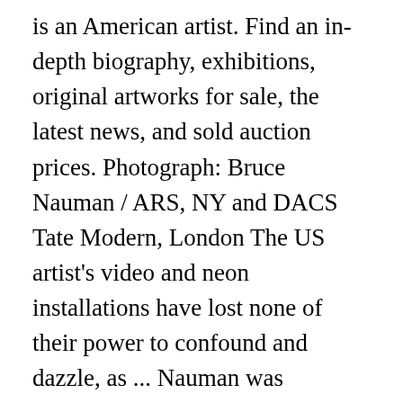is an American artist. Find an in-depth biography, exhibitions, original artworks for sale, the latest news, and sold auction prices. Photograph: Bruce Nauman / ARS, NY and DACS Tate Modern, London The US artist's video and neon installations have lost none of their power to confound and dazzle, as ... Nauman was educated at the University of Wisconsin, Madison (B.A., 1964), and the University of California, Davis (M.F.A., 1966), ... in 1966 from the University of California, Davis. Nauman was born in Fort Wayne, Indiana, but his father's work as an engineer for General Electric meant that the family moved often. Although his work is not easily defined by its materials, styles, or themes, sculpture is